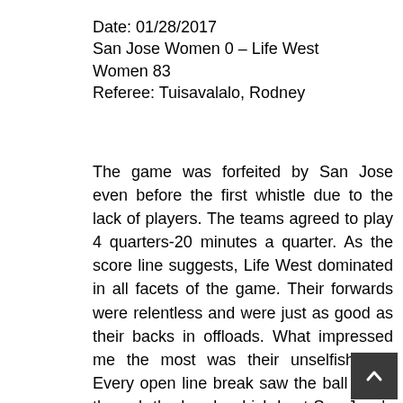Date: 01/28/2017
San Jose Women 0 – Life West Women 83
Referee: Tuisavalalo, Rodney
The game was forfeited by San Jose even before the first whistle due to the lack of players. The teams agreed to play 4 quarters-20 minutes a quarter. As the score line suggests, Life West dominated in all facets of the game. Their forwards were relentless and were just as good as their backs in offloads. What impressed me the most was their unselfishness. Every open line break saw the ball move through the hands which kept San Jose's defense just a